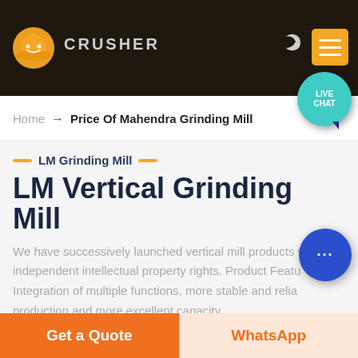[Figure (screenshot): Website header/navigation bar with company logo (orange mining helmet icon), CRUSHER text, dark background with machinery, moon/night mode icon, orange hamburger menu button, and teal LIVE CHAT bubble]
Home → Price Of Mahendra Grinding Mill
LM Grinding Mill
LM Vertical Grinding Mill
We have successively launched vertical mill products with independent intellectual property rights. Product Features: Integration of multiple functions, more stable and reliable production and more excellent capacity
Get a Quote
WhatsApp